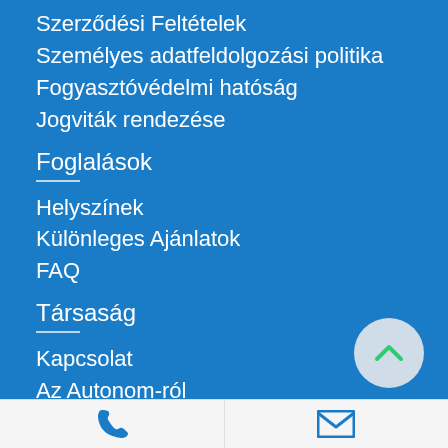Szerződési Feltételek
Személyes adatfeldolgozási politika
Fogyasztóvédelmi hatóság
Jogviták rendezése
Foglalások
Helyszínek
Különleges Ajánlatok
FAQ
Társaság
Kapcsolat
Az Autonom-ról
Blog
[Figure (illustration): Back to top button — circular light grey button with a green upward chevron arrow]
Phone icon | Mail icon